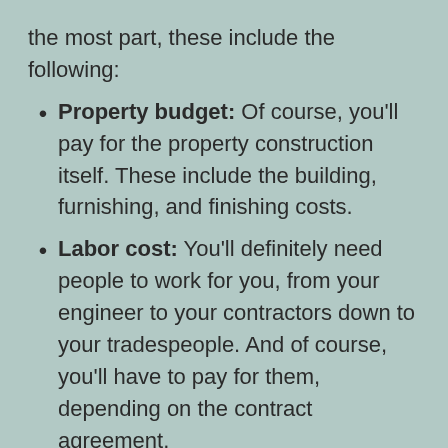the most part, these include the following:
Property budget: Of course, you'll pay for the property construction itself. These include the building, furnishing, and finishing costs.
Labor cost: You'll definitely need people to work for you, from your engineer to your contractors down to your tradespeople. And of course, you'll have to pay for them, depending on the contract agreement.
Material cost: Every material used for your home construction must be listed. Be sure to find cheaper suppliers without